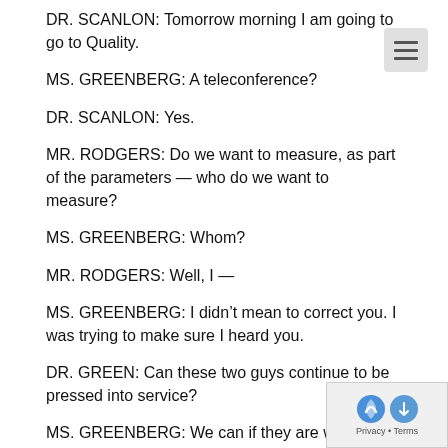DR. SCANLON: Tomorrow morning I am going to go to Quality.
MS. GREENBERG: A teleconference?
DR. SCANLON: Yes.
MR. RODGERS: Do we want to measure, as part of the parameters — who do we want to measure?
MS. GREENBERG: Whom?
MR. RODGERS: Well, I —
MS. GREENBERG: I didn't mean to correct you. I was trying to make sure I heard you.
DR. GREEN: Can these two guys continue to be pressed into service?
MS. GREENBERG: We can if they are willing to be pressed into service. I will be really honest here. I didn't really know...